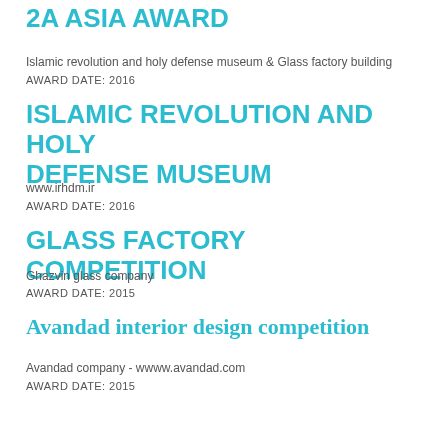2A ASIA AWARD
Islamic revolution and holy defense museum & Glass factory building
AWARD DATE: 2016
ISLAMIC REVOLUTION AND HOLY DEFENSE MUSEUM
www.irhdm.ir
AWARD DATE: 2016
GLASS FACTORY COMPETITION
Ghazvin glass company
AWARD DATE: 2015
Avandad interior design competition
Avandad company - wwww.avandad.com
AWARD DATE: 2015